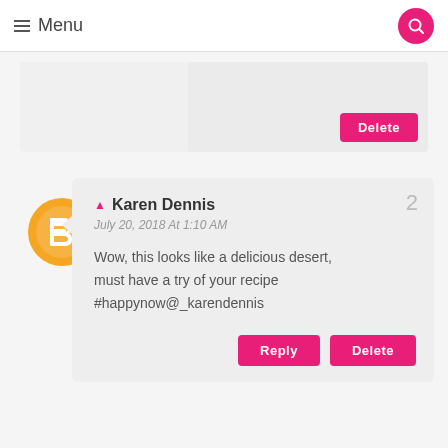Menu
[Figure (screenshot): Partially visible comment card with Delete button]
[Figure (illustration): Blogger orange avatar circle with B logo]
Karen Dennis
July 20, 2018 At 1:10 AM
Wow, this looks like a delicious desert, must have a try of your recipe #happynow@_karendennis
Reply  Delete